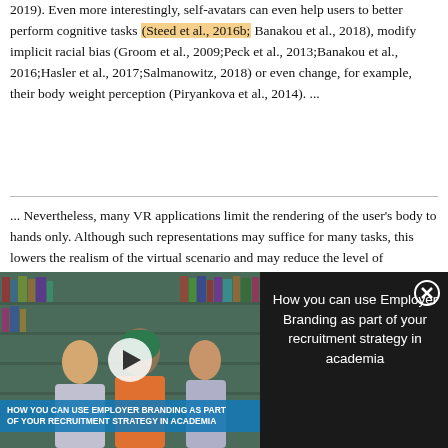2019). Even more interestingly, self-avatars can even help users to better perform cognitive tasks (Steed et al., 2016b; Banakou et al., 2018), modify implicit racial bias (Groom et al., 2009;Peck et al., 2013;Banakou et al., 2016;Hasler et al., 2017;Salmanowitz, 2018) or even change, for example, their body weight perception (Piryankova et al., 2014). ...
... Nevertheless, many VR applications limit the rendering of the user's body to hands only. Although such representations may suffice for many tasks, this lowers the realism of the virtual scenario and may reduce the level of embodiment of the user (De Vignemont, 2011)
[Figure (screenshot): Video overlay showing a library scene with students, one wearing a hijab, studying together. A play button is centered. A blue banner reads 'HOW YOU CAN USE EMPLOYER BRANDING AS PART OF YOUR RECRUITMENT STRATEGY IN ACADEMIA'. On the right dark panel: 'How you can use Employer Branding as part of your recruitment strategy in academia' with an X close button.]
[Figure (advertisement): Applied Biosystems advertisement with infinity logo on dark blue background and text 'Free T-Shirt anyone?']